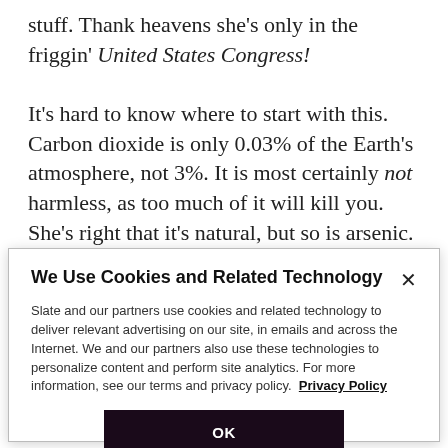stuff. Thank heavens she's only in the friggin' United States Congress! It's hard to know where to start with this. Carbon dioxide is only 0.03% of the Earth's atmosphere, not 3%. It is most certainly not harmless, as too much of it will kill you. She's right that it's natural, but so is arsenic. It's also important to life, but too much will kill you just as certainly as too much water will – you can't breathe
[Figure (screenshot): Cookie consent modal dialog with title 'We Use Cookies and Related Technology', explanatory text about Slate and partners using cookies, a Privacy Policy link, and an OK button.]